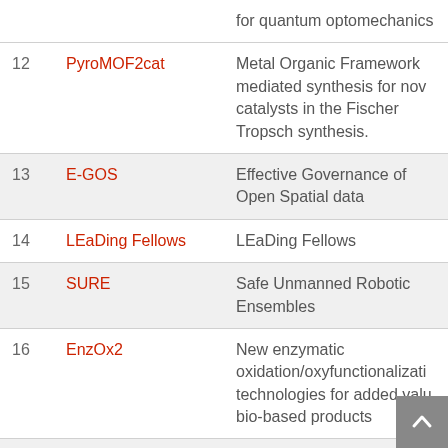| # | Name | Description |
| --- | --- | --- |
|  |  | for quantum optomechanics |
| 12 | PyroMOF2cat | Metal Organic Framework mediated synthesis for now catalysts in the Fischer Tropsch synthesis. |
| 13 | E-GOS | Effective Governance of Open Spatial data |
| 14 | LEaDing Fellows | LEaDing Fellows |
| 15 | SURE | Safe Unmanned Robotic Ensembles |
| 16 | EnzOx2 | New enzymatic oxidation/oxyfunctionalization technologies for added value bio-based products |
| 17 | TIPA | Tidal Turbine Power Take-Off Accelerator |